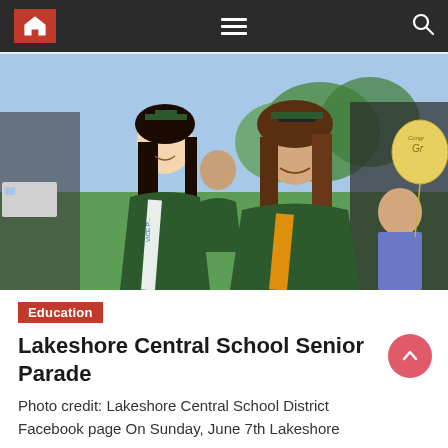Navigation bar with home, menu, and search icons
[Figure (photo): Two female high school graduates in green graduation gowns and caps sitting on a vehicle during a senior parade. The graduate on the left has long dark hair and a white sash reading 'VICE P...' with '2020' visible. The graduate on the right wears an orange sash. A child holding a gold 'Congrats Grad' balloon is visible on the right. Green grass and trees in the background.]
Education
Lakeshore Central School Senior Parade
Photo credit: Lakeshore Central School District Facebook page On Sunday, June 7th Lakeshore